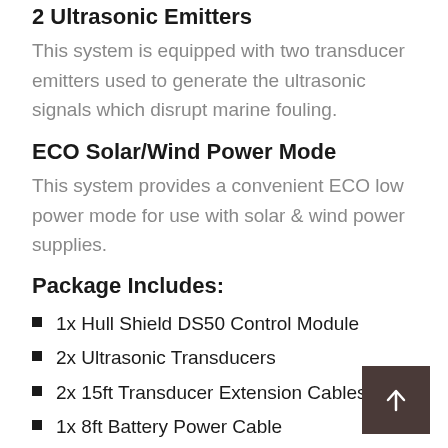2 Ultrasonic Emitters
This system is equipped with two transducer emitters used to generate the ultrasonic signals which disrupt marine fouling.
ECO Solar/Wind Power Mode
This system provides a convenient ECO low power mode for use with solar & wind power supplies.
Package Includes:
1x Hull Shield DS50 Control Module
2x Ultrasonic Transducers
2x 15ft Transducer Extension Cables
1x 8ft Battery Power Cable